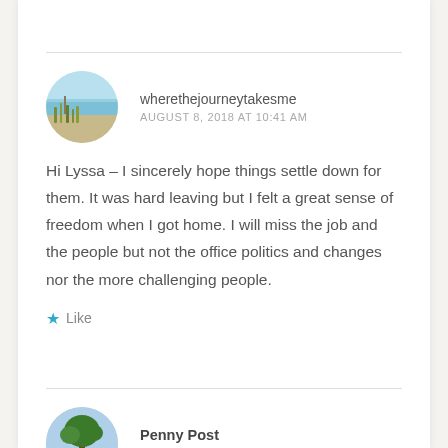[Figure (photo): Circular avatar image showing a coastal/beach landscape with water and grassy dunes]
wherethejourneytakesme
AUGUST 8, 2018 AT 10:41 AM
Hi Lyssa – I sincerely hope things settle down for them. It was hard leaving but I felt a great sense of freedom when I got home. I will miss the job and the people but not the office politics and changes nor the more challenging people.
★ Like
[Figure (photo): Circular avatar image showing a tree in a landscape]
Penny Post
AUGUST 8, 2018 AT 10:54 AM